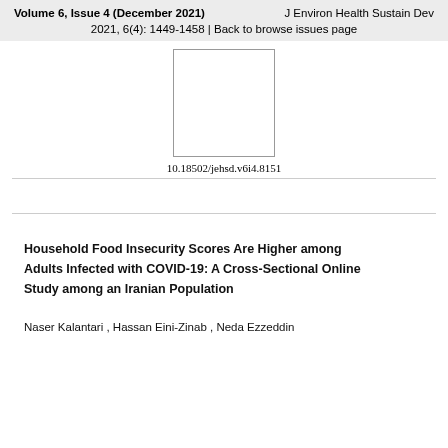Volume 6, Issue 4 (December 2021)    J Environ Health Sustain Dev
2021, 6(4): 1449-1458 | Back to browse issues page
[Figure (other): Thumbnail image placeholder box (white rectangle with border)]
10.18502/jehsd.v6i4.8151
Household Food Insecurity Scores Are Higher among Adults Infected with COVID-19: A Cross-Sectional Online Study among an Iranian Population
Naser Kalantari , Hassan Eini-Zinab , Neda Ezzeddin